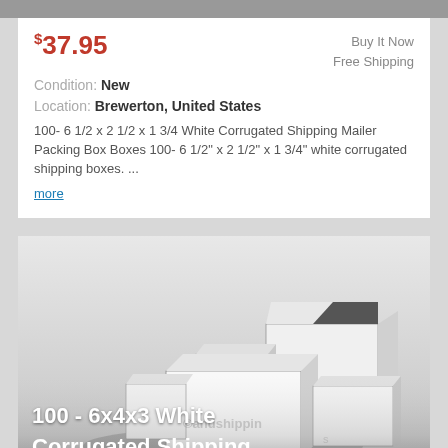$37.95
Buy It Now
Free Shipping
Condition: New
Location: Brewerton, United States
100- 6 1/2 x 2 1/2 x 1 3/4 White Corrugated Shipping Mailer Packing Box Boxes 100- 6 1/2" x 2 1/2" x 1 3/4" white corrugated shipping boxes. ...
more
[Figure (photo): Stack of white corrugated shipping mailer packing boxes, some open, showing brown corrugated interior, with watermark text. Overlay text reads: 100 - 6x4x3 White Corrugated Shipping Mailer Packing Box Boxes]